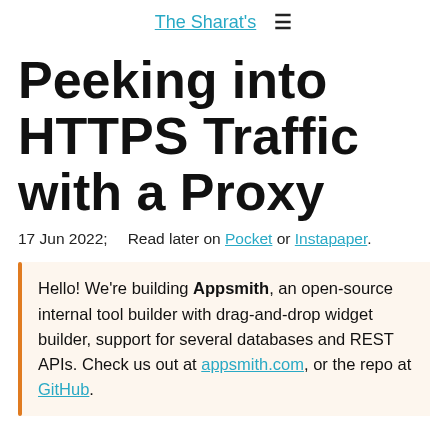The Sharat's ≡
Peeking into HTTPS Traffic with a Proxy
17 Jun 2022;   Read later on Pocket or Instapaper.
Hello! We're building Appsmith, an open-source internal tool builder with drag-and-drop widget builder, support for several databases and REST APIs. Check us out at appsmith.com, or the repo at GitHub.